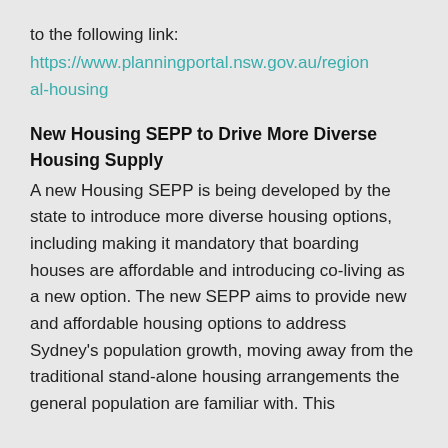to the following link:
https://www.planningportal.nsw.gov.au/regional-housing
New Housing SEPP to Drive More Diverse Housing Supply
A new Housing SEPP is being developed by the state to introduce more diverse housing options, including making it mandatory that boarding houses are affordable and introducing co-living as a new option. The new SEPP aims to provide new and affordable housing options to address Sydney's population growth, moving away from the traditional stand-alone housing arrangements the general population are familiar with. This